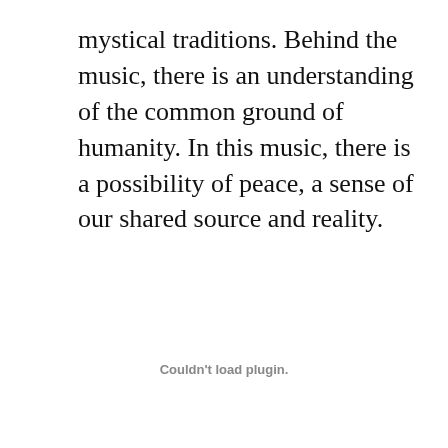mystical traditions. Behind the music, there is an understanding of the common ground of humanity. In this music, there is a possibility of peace, a sense of our shared source and reality.
Couldn't load plugin.